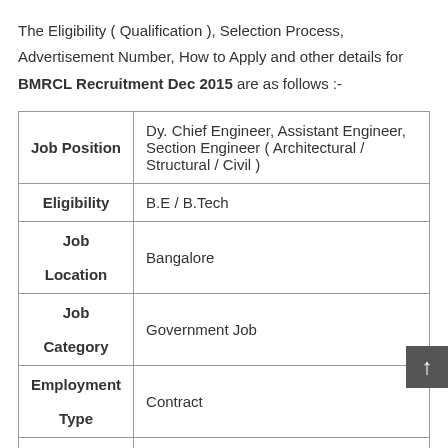The Eligibility ( Qualification ), Selection Process, Advertisement Number, How to Apply and other details for BMRCL Recruitment Dec 2015 are as follows :-
| Job Position | Dy. Chief Engineer, Assistant Engineer, Section Engineer ( Architectural / Structural / Civil ) |
| --- | --- |
| Eligibility | B.E / B.Tech |
| Job Location | Bangalore |
| Job Category | Government Job |
| Employment Type | Contract |